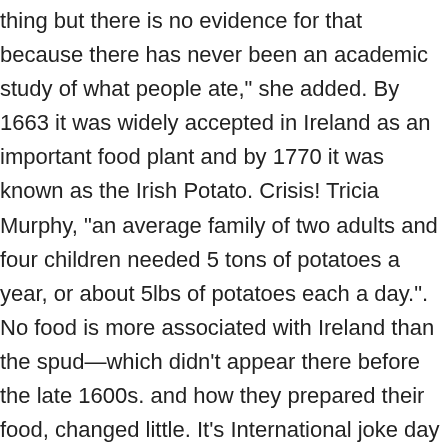thing but there is no evidence for that because there has never been an academic study of what people ate," she added. By 1663 it was widely accepted in Ireland as an important food plant and by 1770 it was known as the Irish Potato. Crisis! Tricia Murphy, “an average family of two adults and four children needed 5 tons of potatoes a year, or about 5lbs of potatoes each a day.”. No food is more associated with Ireland than the spud—which didn't appear there before the late 1600s. and how they prepared their food, changed little. It’s International joke day so I thought I would give you my best shot! Though this may seem a lot, even a poor farmer or farm labourer could readily grow this amount on just half an acre. A writer of the time, describes vividly the conditions in which they lived: The master never fed a labourer…it was on the contrary